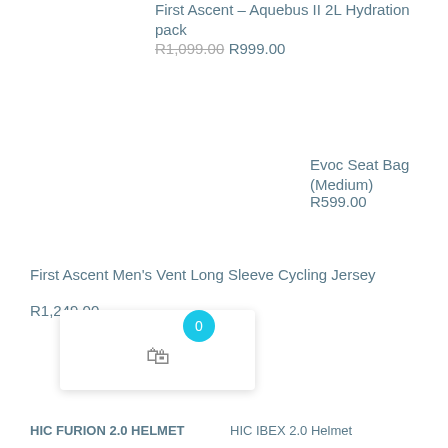First Ascent – Aquebus II 2L Hydration pack
R1,099.00 R999.00
Evoc Seat Bag (Medium)
R599.00
First Ascent Men's Vent Long Sleeve Cycling Jersey
R1,249.00
HIC FURION 2.0 HELMET
HIC IBEX 2.0 Helmet